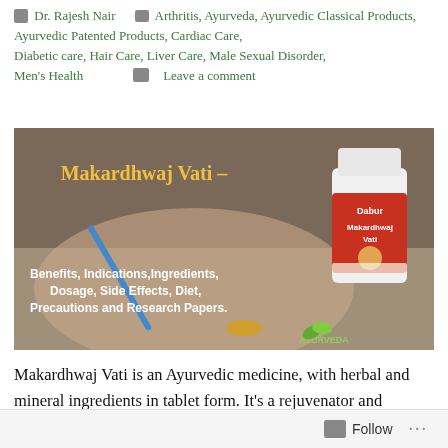Dr. Rajesh Nair   Arthritis, Ayurveda, Ayurvedic Classical Products, Ayurvedic Patented Products, Cardiac Care, Diabetic care, Hair Care, Liver Care, Male Sexual Disorder, Men's Health   Leave a comment
[Figure (photo): Banner image showing elderly hands writing, with text overlay 'Makardhwaj Vati –' in gold, a Dabur Makardhwaj Vati medicine bottle on the right, subtitle text listing Benefits, Indications, Ingredients, Dosage, Side Effects, Diet, Precautions and Research Papers, and Ayurveda logo at bottom right.]
Makardhwaj Vati is an Ayurvedic medicine, with herbal and mineral ingredients in tablet form. It's a rejuvenator and according to Ayurveda, it's a Rasayana.
Follow ...